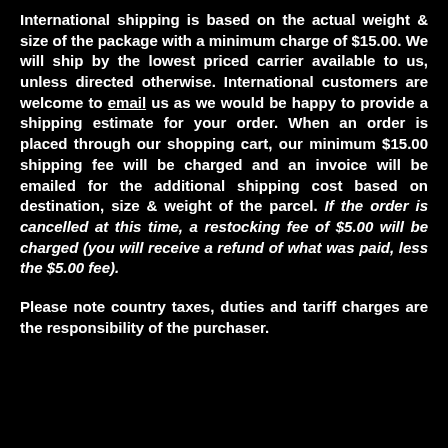International shipping is based on the actual weight & size of the package with a minimum charge of $15.00. We will ship by the lowest priced carrier available to us, unless directed otherwise. International customers are welcome to email us as we would be happy to provide a shipping estimate for your order. When an order is placed through our shopping cart, our minimum $15.00 shipping fee will be charged and an invoice will be emailed for the additional shipping cost based on destination, size & weight of the parcel. If the order is cancelled at this time, a restocking fee of $5.00 will be charged (you will receive a refund of what was paid, less the $5.00 fee).
Please note country taxes, duties and tariff charges are the responsibility of the purchaser.